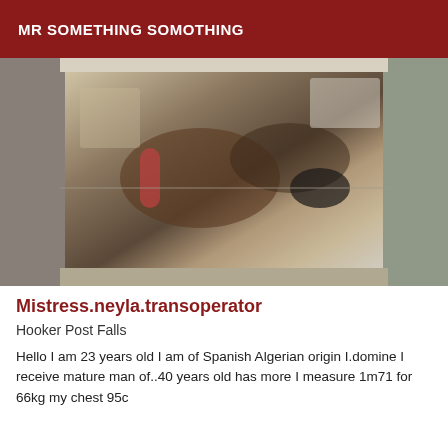MR SOMETHING SOMOTHING
[Figure (photo): A photograph showing a person reflected in a mirror, appears to be in a bathroom or tiled room setting. The image is oriented sideways.]
Mistress.neyla.transoperator
Hooker Post Falls
Hello I am 23 years old I am of Spanish Algerian origin I.domine I receive mature man of..40 years old has more I measure 1m71 for 66kg my chest 95c